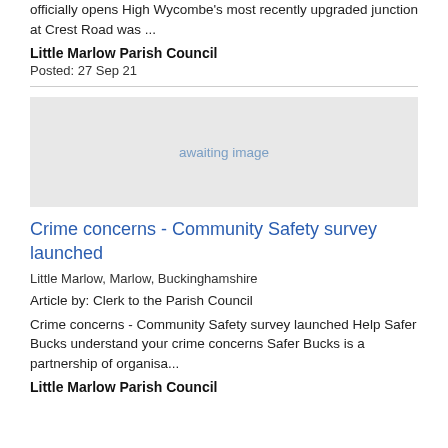officially opens High Wycombe's most recently upgraded junction at Crest Road was ...
Little Marlow Parish Council
Posted: 27 Sep 21
[Figure (photo): awaiting image placeholder]
Crime concerns - Community Safety survey launched
Little Marlow, Marlow, Buckinghamshire
Article by: Clerk to the Parish Council
Crime concerns - Community Safety survey launched Help Safer Bucks understand your crime concerns Safer Bucks is a partnership of organisa...
Little Marlow Parish Council